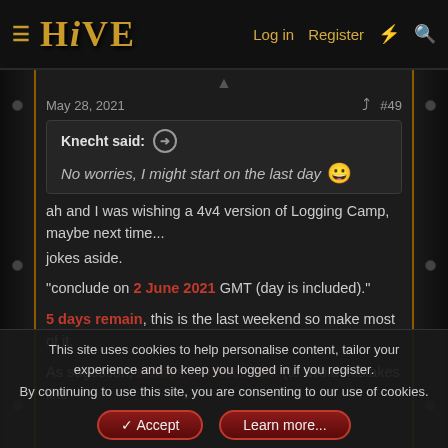HIVE — Log in  Register
May 28, 2021  #49
Knecht said: → No worries, I might start on the last day 😀
ah and I was wishing a 4v4 version of Logging Camp, maybe next time...
jokes aside.

"conclude on 2 June 2021 GMT (day is included)."

5 days remain, this is the last weekend so make most of it.

As sugestion, always re-check loot (to avoid mistakes like
This site uses cookies to help personalise content, tailor your experience and to keep you logged in if you register.
By continuing to use this site, you are consenting to our use of cookies.
Accept  Learn more...